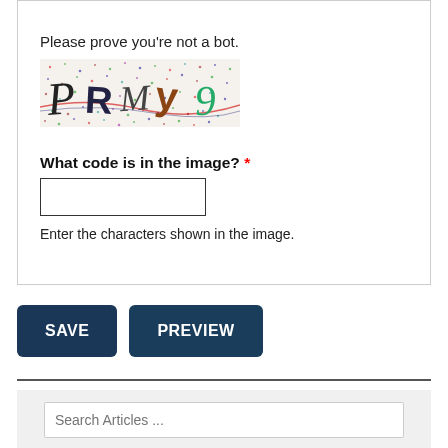Please prove you're not a bot.
[Figure (photo): CAPTCHA image showing distorted letters PRMy9 on a colorful speckled background]
What code is in the image? *
Enter the characters shown in the image.
[Figure (screenshot): SAVE button (dark blue rounded rectangle)]
[Figure (screenshot): PREVIEW button (dark blue rounded rectangle)]
Search Articles ...